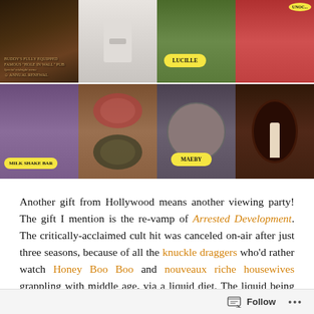[Figure (photo): Grid of party and food photos. Row 1: dark bar sign photo, person in white shirt holding paper, outdoor photo with 'LUCILLE' yellow badge, woman in red shirt with 'UNOC...' badge. Row 2: woman at milk shake bar with 'MILK SHAKE BAR' badge, bowls of strawberries and broccoli, close-up of woman with glasses and 'MAEBY' badge, chocolate fondue with item being dipped.]
Another gift from Hollywood means another viewing party! The gift I mention is the re-vamp of Arrested Development. The critically-acclaimed cult hit was canceled on-air after just three seasons, because of all the knuckle draggers who'd rather watch Honey Boo Boo and nouveaux riche housewives grappling with middle age, via a liquid diet. The liquid being primarily vodka.
Follow ...